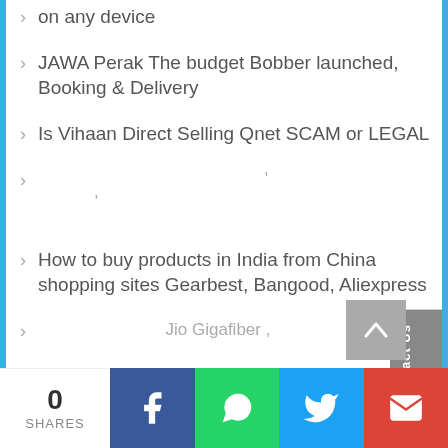on any device
JAWA Perak The budget Bobber launched, Booking & Delivery
Is Vihaan Direct Selling Qnet SCAM or LEGAL
' ,
How to buy products in India from China shopping sites Gearbest, Bangood, Aliexpress
Jio Gigafiber ,
, ,
How to run whatsapp on jio phone
0 SHARES | Facebook | WhatsApp | Twitter | Gmail